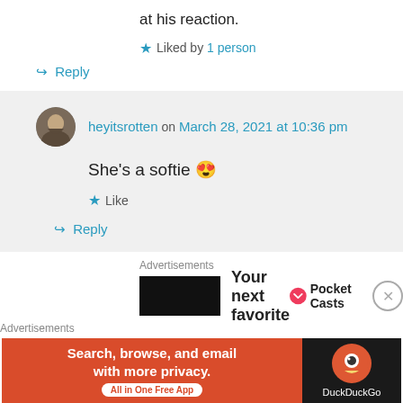at his reaction.
★ Liked by 1 person
↪ Reply
heyitsrotten on March 28, 2021 at 10:36 pm
She's a softie 😍
★ Like
↪ Reply
Advertisements
Your next favorite
[Figure (logo): Pocket Casts logo with circular icon]
Advertisements
[Figure (other): DuckDuckGo advertisement banner: Search, browse, and email with more privacy. All in One Free App]